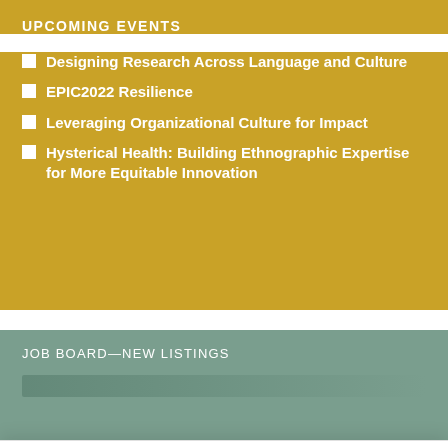UPCOMING EVENTS
Designing Research Across Language and Culture
EPIC2022 Resilience
Leveraging Organizational Culture for Impact
Hysterical Health: Building Ethnographic Expertise for More Equitable Innovation
JOB BOARD—NEW LISTINGS
We've worked hard to eliminate cookies that don't serve you and our nonprofit community. By clicking "Accept" you consent to our use of all cookies. To manage analytics and social cookies, click "Settings."
Cookie settings | ACCEPT | REJECT